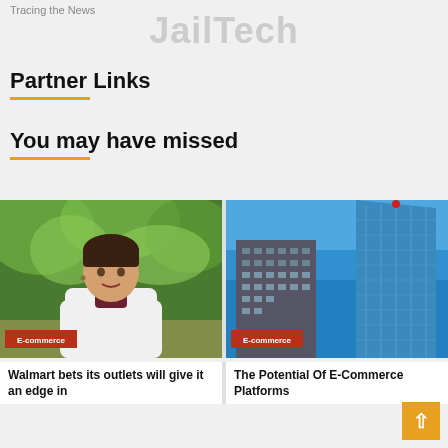Tracing the News
JailTech
Partner Links
You may have missed
[Figure (photo): Woman in white blazer standing outdoors near green trees, with E-commerce badge overlay]
[Figure (photo): Modern glass skyscraper and shorter building against blue sky, with E-commerce badge overlay]
Walmart bets its outlets will give it an edge in
The Potential Of E-Commerce Platforms